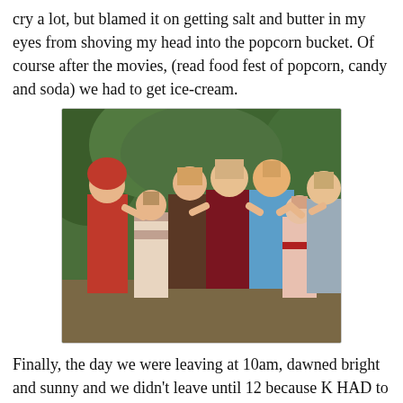cry a lot, but blamed it on getting salt and butter in my eyes from shoving my head into the popcorn bucket. Of course after the movies, (read food fest of popcorn, candy and soda) we had to get ice-cream.
[Figure (photo): Group photo of seven girls posing together outdoors in front of green foliage. They are wearing summer clothes in various colors.]
Finally, the day we were leaving at 10am, dawned bright and sunny and we didn't leave until 12 because K HAD to go tubing. Here is K, E and B hanging out in the water waiting for the boat to roar into action.
[Figure (photo): A child swimming in blue water, head visible above the water surface, waiting for tubing activity.]